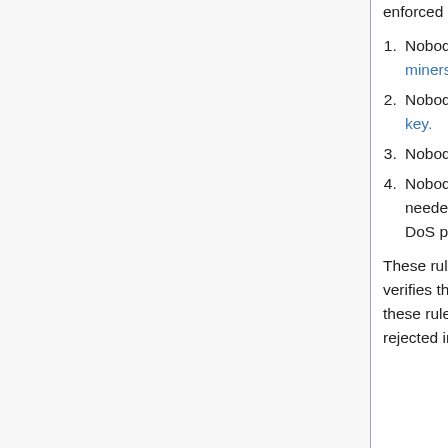enforced for it to be a good form of money, for example:
Nobody ever created money out of nothing (except for miners, and only according to a well-defined schedule).
Nobody ever spent coins without knowing their private key.
Nobody spent the same coin twice
Nobody violated any of the other tricky rules that are needed to make the system work (difficulty, proof of work, DoS protection, ...).
These rules define bitcoin. A full node is software that verifies the rules of bitcoin. Any transaction which breaks these rules is not a valid bitcoin transaction and would be rejected in the same way that a